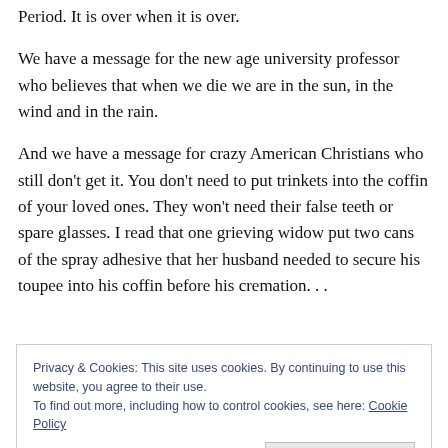Period. It is over when it is over.
We have a message for the new age university professor who believes that when we die we are in the sun, in the wind and in the rain.
And we have a message for crazy American Christians who still don't get it. You don't need to put trinkets into the coffin of your loved ones. They won't need their false teeth or spare glasses. I read that one grieving widow put two cans of the spray adhesive that her husband needed to secure his toupee into his coffin before his cremation. . .
Privacy & Cookies: This site uses cookies. By continuing to use this website, you agree to their use.
To find out more, including how to control cookies, see here: Cookie Policy
Close and accept
We have a message and it is important for us to hit the